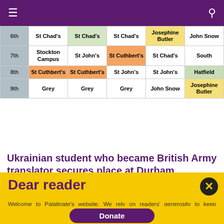☰  🔍
|  | Col1 | Col2 | Col3 | Col4 | Col5 |
| --- | --- | --- | --- | --- | --- |
| 6th | St Chad's | St Chad's | St Chad's | Josephine Butler | John Snow |
| 7th | Stockton Campus | St John's | St Cuthbert's | St Chad's | South |
| 8th | St Cuthbert's | St Cuthbert's | St John's | St John's | Hatfield |
| 9th | Grey | Grey | Grey | John Snow | Josephine Butler |
Ukrainian student who became British Army translator secures place at Durham University
Dear reader
Welcome to Palatinate's website. We rely on readers' generosity to keep producing award-winning journalism and provide media training opportunities to our team of more than 150 students. Palatinate has produced some of the biggest names in British media, from Jeremy Vine to the late great Sir Harold Evans. Every contribution to Palatinate is an investment into the future of journalism.
Donate